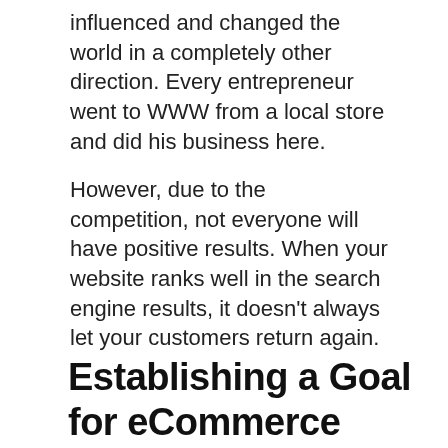influenced and changed the world in a completely other direction. Every entrepreneur went to WWW from a local store and did his business here.
However, due to the competition, not everyone will have positive results. When your website ranks well in the search engine results, it doesn't always let your customers return again.
Establishing a Goal for eCommerce Digital Marketing